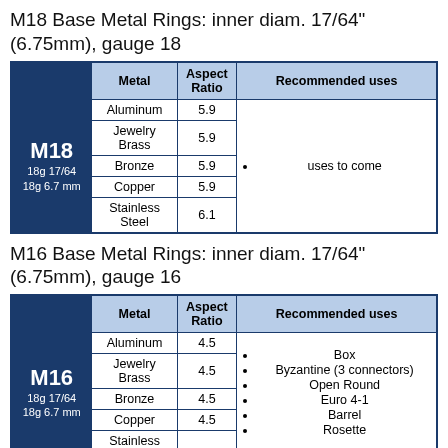M18 Base Metal Rings: inner diam. 17/64" (6.75mm), gauge 18
|  | Metal | Aspect Ratio | Recommended uses |
| --- | --- | --- | --- |
| M18 / 18g 17/64 / 18g 6.7 mm | Aluminum | 5.9 | uses to come |
|  | Jewelry Brass | 5.9 |  |
|  | Bronze | 5.9 |  |
|  | Copper | 5.9 |  |
|  | Stainless Steel | 6.1 |  |
M16 Base Metal Rings: inner diam. 17/64" (6.75mm), gauge 16
|  | Metal | Aspect Ratio | Recommended uses |
| --- | --- | --- | --- |
| M16 / 18g 17/64 / 18g 6.7 mm | Aluminum | 4.5 | Box, Byzantine (3 connectors), Open Round, Euro 4-1, Barrel, Rosette |
|  | Jewelry Brass | 4.5 |  |
|  | Bronze | 4.5 |  |
|  | Copper | 4.5 |  |
|  | Stainless | ... | Rosette... |